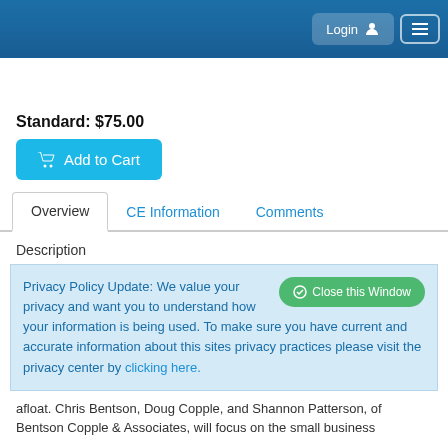Login  [menu]
Standard: $75.00
Add to Cart
Overview  CE Information  Comments
Description
Privacy Policy Update: We value your privacy and want you to understand how your information is being used. To make sure you have current and accurate information about this sites privacy practices please visit the privacy center by clicking here.
afloat. Chris Bentson, Doug Copple, and Shannon Patterson, of Bentson Copple & Associates, will focus on the small business